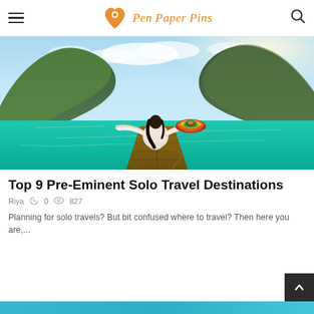Pen Paper Pins — navigation header with hamburger menu, logo, and search icon
[Figure (photo): Woman sitting on the bow of a wooden longtail boat, arms outstretched, holding a colorful sombrero hat, surrounded by turquoise water and tall limestone cliffs in the background (Phi Phi Islands, Thailand style scene)]
Top 9 Pre-Eminent Solo Travel Destinations
Riya  0  827
Planning for solo travels? But bit confused where to travel? Then here you are,...